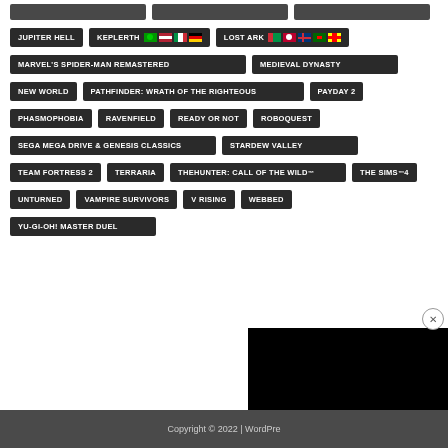JUPITER HELL
KEPLERTH
LOST ARK
MARVEL'S SPIDER-MAN REMASTERED
MEDIEVAL DYNASTY
NEW WORLD
PATHFINDER: WRATH OF THE RIGHTEOUS
PAYDAY 2
PHASMOPHOBIA
RAVENFIELD
READY OR NOT
ROBOQUEST
SEGA MEGA DRIVE & GENESIS CLASSICS
STARDEW VALLEY
TEAM FORTRESS 2
TERRARIA
THEHUNTER: CALL OF THE WILD™
THE SIMS™ 4
UNTURNED
VAMPIRE SURVIVORS
V RISING
WEBBED
YU-GI-OH! MASTER DUEL
Copyright © 2022 | WordPress